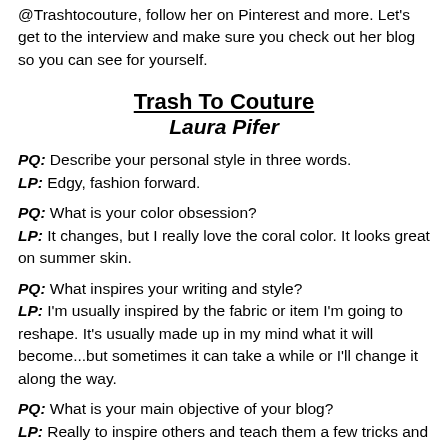@Trashtocouture, follow her on Pinterest and more. Let's get to the interview and make sure you check out her blog so you can see for yourself.
Trash To Couture
Laura Pifer
PQ: Describe your personal style in three words.
LP: Edgy, fashion forward.
PQ: What is your color obsession?
LP: It changes, but I really love the coral color. It looks great on summer skin.
PQ: What inspires your writing and style?
LP: I'm usually inspired by the fabric or item I'm going to reshape. It's usually made up in my mind what it will become...but sometimes it can take a while or I'll change it along the way.
PQ: What is your main objective of your blog?
LP: Really to inspire others and teach them a few tricks and